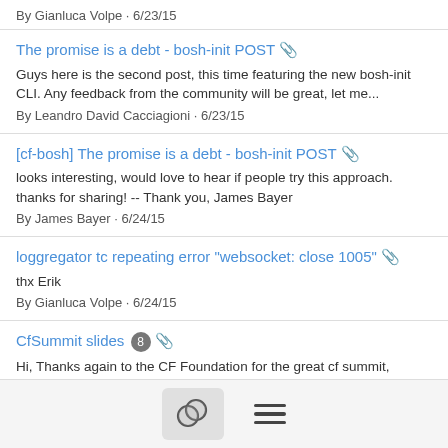By Gianluca Volpe · 6/23/15
The promise is a debt - bosh-init POST 📎
Guys here is the second post, this time featuring the new bosh-init CLI. Any feedback from the community will be great, let me...
By Leandro David Cacciagioni · 6/23/15
[cf-bosh] The promise is a debt - bosh-init POST 📎
looks interesting, would love to hear if people try this approach. thanks for sharing! -- Thank you, James Bayer
By James Bayer · 6/24/15
loggregator tc repeating error "websocket: close 1005" 📎
thx Erik
By Gianluca Volpe · 6/24/15
CfSummit slides 8 📎
Hi, Thanks again to the CF Foundation for the great cf summit,